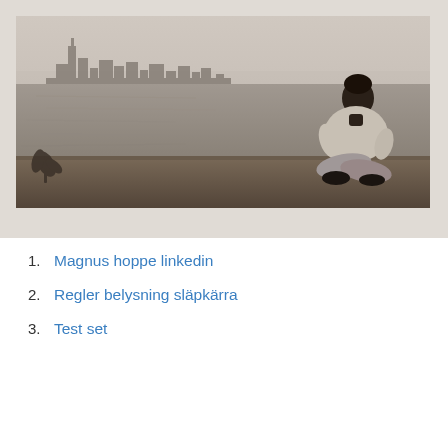[Figure (photo): Black and white photograph of a person sitting on a dock or ledge overlooking a large body of water with a city skyline in the background. The person is seated cross-legged facing away from the camera toward the cityscape.]
Magnus hoppe linkedin
Regler belysning släpkärra
Test set